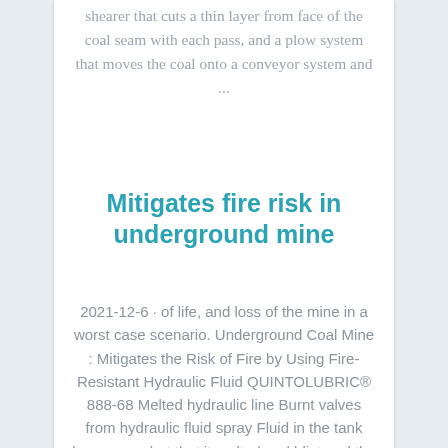shearer that cuts a thin layer from face of the coal seam with each pass, and a plow system that moves the coal onto a conveyor system and ...
Mitigates fire risk in underground mine
2021-12-6 · of life, and loss of the mine in a worst case scenario. Underground Coal Mine : Mitigates the Risk of Fire by Using Fire-Resistant Hydraulic Fluid QUINTOLUBRIC® 888-68 Melted hydraulic line Burnt valves from hydraulic fluid spray Fluid in the tank became so hot that it melted and blistered the paint off the bottom of the tank_ - CHINACAJHydraulic Coal Mining & Pipeline Transportation Author Expert Edit Construction 国际 International Journal of Mining Science and Technology Author ...